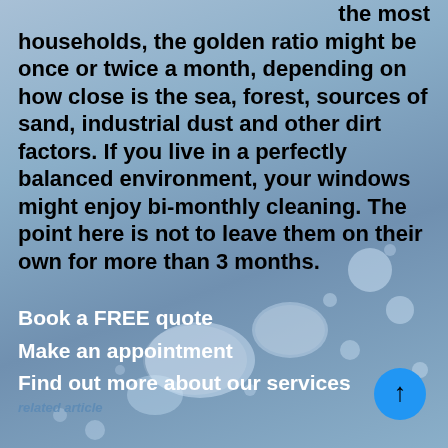the most households, the golden ratio might be once or twice a month, depending on how close is the sea, forest, sources of sand, industrial dust and other dirt factors. If you live in a perfectly balanced environment, your windows might enjoy bi-monthly cleaning. The point here is not to leave them on their own for more than 3 months.
Book a FREE quote
Make an appointment
Find out more about our services
related article